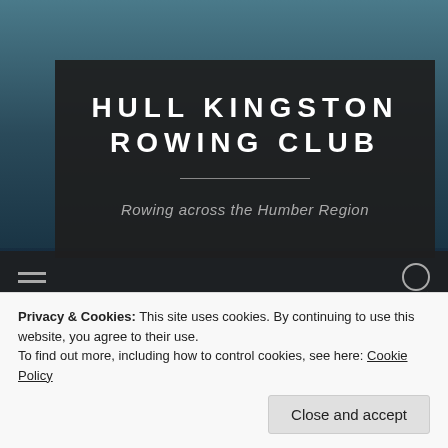[Figure (photo): Aerial/water view of a river or harbour with rippled water and a dock or landing visible, serving as website hero background]
HULL KINGSTON ROWING CLUB
Rowing across the Humber Region
Privacy & Cookies: This site uses cookies. By continuing to use this website, you agree to their use.
To find out more, including how to control cookies, see here: Cookie Policy
Close and accept